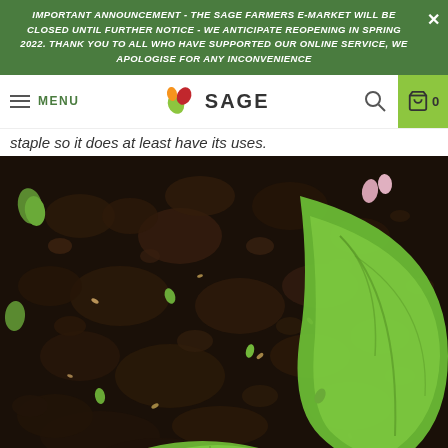IMPORTANT ANNOUNCEMENT - THE SAGE FARMERS E-MARKET WILL BE CLOSED UNTIL FURTHER NOTICE - WE ANTICIPATE REOPENING IN SPRING 2022. THANK YOU TO ALL WHO HAVE SUPPORTED OUR ONLINE SERVICE, WE APOLOGISE FOR ANY INCONVENIENCE
[Figure (screenshot): Navigation bar with hamburger menu icon and MENU label, SAGE logo with colorful leaf icon, search icon, and green cart icon with 0 count]
staple so it does at least have its uses.
[Figure (photo): Close-up photograph of dark rich soil/compost with green leaves (possibly squash or courgette) visible on the right side and bottom of the frame]